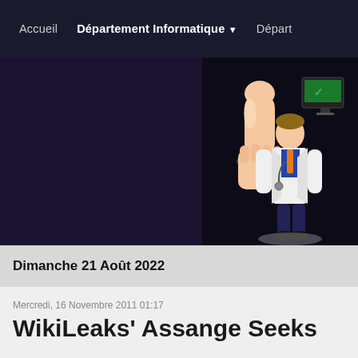Accueil    Département Informatique ▼    Départ
[Figure (illustration): Hero banner with dark purple/navy background and an illustration of a person in a white lab coat giving a thumbs up next to a computer monitor on the right side]
Dimanche 21 Août 2022
Mercredi, 16 Novembre 2011 01:17
WikiLeaks' Assange Seeks